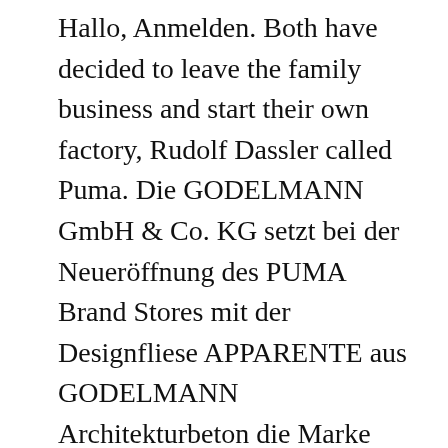Hallo, Anmelden. Both have decided to leave the family business and start their own factory, Rudolf Dassler called Puma. Die GODELMANN GmbH & Co. KG setzt bei der Neueröffnung des PUMA Brand Stores mit der Designfliese APPARENTE aus GODELMANN Architekturbeton die Marke PUMA in Szene und erschafft ein Branding der Extraklasse. Always bringing its A-game, sports giant PUMA is all about setting and smashing goals in its quest to be forever faster. The Puma concolor, also commonly known as the mountain lion, puma, cougar or panther is a large felid of the subfamily Felinae native to the Americas. Some of the best cross training shoes are actually made from Puma! Nevertheless, my experience